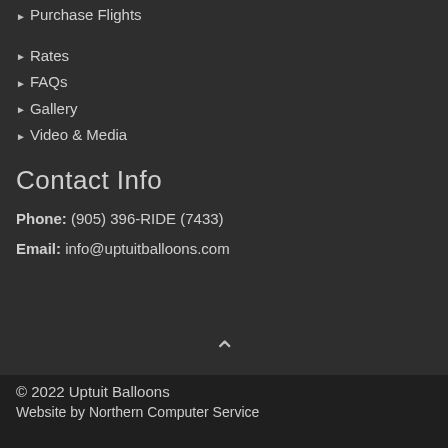▸ Purchase Flights
▸ Rates
▸ FAQs
▸ Gallery
▸ Video & Media
Contact Info
Phone: (905) 396-RIDE (7433)
Email: info@uptuitballoons.com
© 2022 Uptuit Balloons
Website by Northern Computer Service